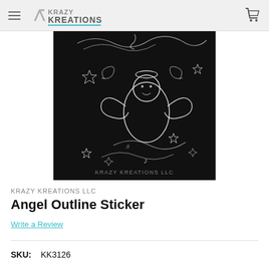Krazy Kreations
[Figure (illustration): Black background sticker with white outline line art of an angel figure surrounded by swirling decorative elements, stars, music notes, and cursive text. Watermark text reads KRAZY KREATIONS LLC.]
KRAZY KREATIONS LLC
Angel Outline Sticker
Write a Review
SKU: KK3126